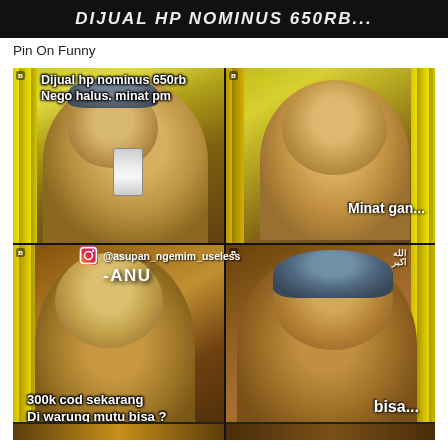[Figure (screenshot): Top banner with bold white italic text on black background (partially cut off)]
Pin On Funny
[Figure (photo): A 4-panel internet meme featuring animated characters from Upin & Ipin. Top-left: character holding phone with text 'Dijual hp nominus 650rb Nego halus. minat pm'. Top-right: bald child character with text 'Minat gan...'. Bottom-left: bald child character with text '300k cod sekarang Di warung mutu bisa ?'. Bottom-right: character with turban with text 'bisa...'. Instagram watermark '@asupan_ngemim_useless' and 'ANU' visible in center.]